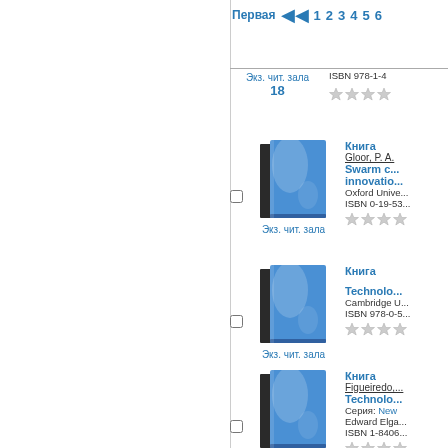Первая  1  2  3  4  5  6
Экз. чит. зала | ISBN 978-1-4... | 18
[Figure (illustration): Blue book cover icon]
Экз. чит. зала
Книга
Gloor, P. A.
Swarm c... innovatio...
Oxford Unive...
ISBN 0-19-53...
[Figure (illustration): Blue book cover icon]
Экз. чит. зала
Книга
Technolo...
Cambridge U...
ISBN 978-0-5...
[Figure (illustration): Blue book cover icon]
Экз. чит. зала
Книга
Figueiredo,...
Technolo...
Серия: New...
Edward Elga...
ISBN 1-8406...